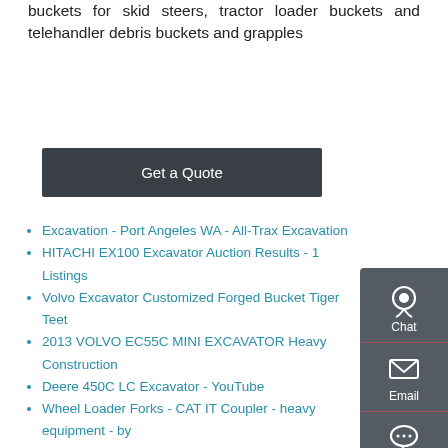buckets for skid steers, tractor loader buckets and telehandler debris buckets and grapples
Get a Quote
Excavation - Port Angeles WA - All-Trax Excavation
HITACHI EX100 Excavator Auction Results - 1 Listings
Volvo Excavator Customized Forged Bucket Tiger Teeth
2013 VOLVO EC55C MINI EXCAVATOR Heavy Construction
Deere 450C LC Excavator - YouTube
Wheel Loader Forks - CAT IT Coupler - heavy equipment - by
STEAM - a hydraulic hybrid architecture for excavators - CORE
DAF CF75 250 4X2 Manual Skiploader Portaal Absetzkipper
Manually deflate the air reservoir of the loader
China Chinese Mini Excavator Chinese Mini Excavator
Hyundai Excavator Cabin Air Filter 97613-7A000 Engine Air
Doosan DX19 Mini Backhoe Loaders of for sale - MachineryZone